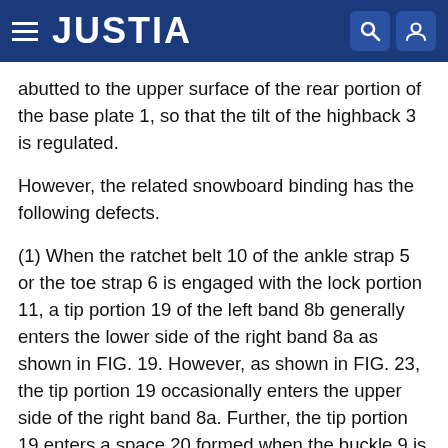JUSTIA
abutted to the upper surface of the rear portion of the base plate 1, so that the tilt of the highback 3 is regulated.
However, the related snowboard binding has the following defects.
(1) When the ratchet belt 10 of the ankle strap 5 or the toe strap 6 is engaged with the lock portion 11, a tip portion 19 of the left band 8b generally enters the lower side of the right band 8a as shown in FIG. 19. However, as shown in FIG. 23, the tip portion 19 occasionally enters the upper side of the right band 8a. Further, the tip portion 19 enters a space 20 formed when the buckle 9 is released. Therefore, the buckle 9 cannot be fastened and the attachment of the ratchet belt 10 spends a lot of time. Additionally, if the buckle 9 is fastened in a